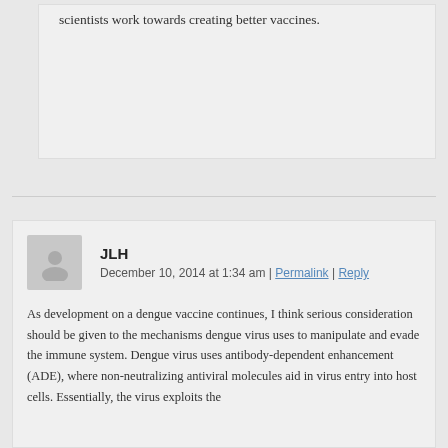scientists work towards creating better vaccines.
JLH
December 10, 2014 at 1:34 am | Permalink | Reply
As development on a dengue vaccine continues, I think serious consideration should be given to the mechanisms dengue virus uses to manipulate and evade the immune system. Dengue virus uses antibody-dependent enhancement (ADE), where non-neutralizing antiviral molecules aid in virus entry into host cells. Essentially, the virus exploits the